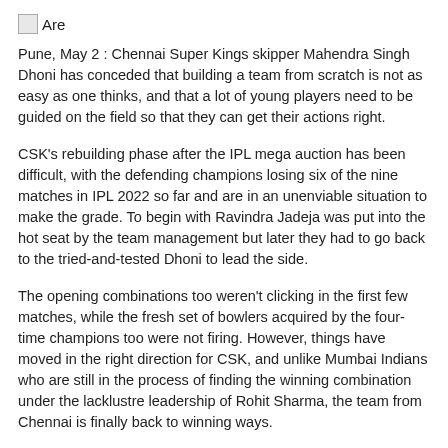[Figure (logo): Small image icon followed by text 'Are']
Pune, May 2 : Chennai Super Kings skipper Mahendra Singh Dhoni has conceded that building a team from scratch is not as easy as one thinks, and that a lot of young players need to be guided on the field so that they can get their actions right.
CSK's rebuilding phase after the IPL mega auction has been difficult, with the defending champions losing six of the nine matches in IPL 2022 so far and are in an unenviable situation to make the grade. To begin with Ravindra Jadeja was put into the hot seat by the team management but later they had to go back to the tried-and-tested Dhoni to lead the side.
The opening combinations too weren't clicking in the first few matches, while the fresh set of bowlers acquired by the four-time champions too were not firing. However, things have moved in the right direction for CSK, and unlike Mumbai Indians who are still in the process of finding the winning combination under the lacklustre leadership of Rohit Sharma, the team from Chennai is finally back to winning ways.
The commanding performance against Sunrisers Hyderabad on Sunday showed just how CSK are almost done with their rebuilding process.